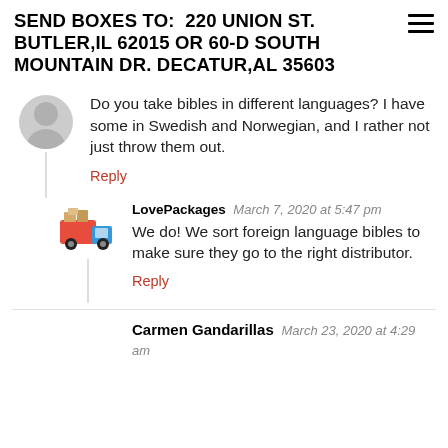SEND BOXES TO:  220 UNION ST. BUTLER,IL 62015 or 60-D South MOUNTAIN DR. DECATUR,AL 35603
Do you take bibles in different languages? I have some in Swedish and Norwegian, and I rather not just throw them out.
Reply
LovePackages  March 7, 2020 at 5:47 pm
We do! We sort foreign language bibles to make sure they go to the right distributor.
Reply
Carmen Gandarillas  March 23, 2020 at 4:29 am